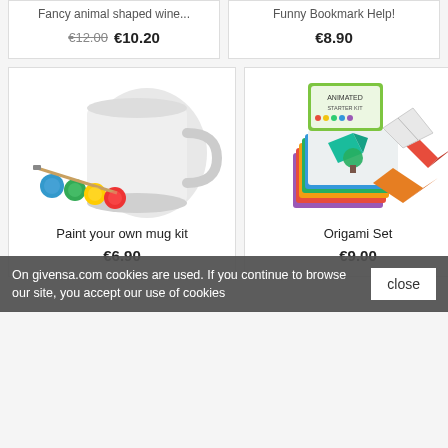[Figure (photo): Partial product card top-left: Fancy animal shaped wine... with strikethrough price €12.00 and sale price €10.20]
[Figure (photo): Partial product card top-right: Funny Bookmark Help! with price €8.90]
[Figure (photo): Product photo: Paint your own mug kit — white ceramic mug with paint pots and brush]
Paint your own mug kit
€6.90
[Figure (photo): Product photo: Origami Set — colorful paper sheets and folded origami figures with Animated starter kit box]
Origami Set
€9.00
On givensa.com cookies are used. If you continue to browse our site, you accept our use of cookies